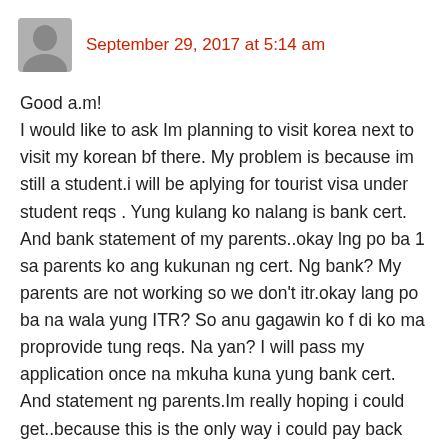September 29, 2017 at 5:14 am
Good a.m!
I would like to ask Im planning to visit korea next to visit my korean bf there. My problem is because im still a student.i will be aplying for tourist visa under student reqs . Yung kulang ko nalang is bank cert. And bank statement of my parents..okay lng po ba 1 sa parents ko ang kukunan ng cert. Ng bank? My parents are not working so we don't itr.okay lang po ba na wala yung ITR? So anu gagawin ko f di ko ma proprovide tung reqs. Na yan? I will pass my application once na mkuha kuna yung bank cert. And statement ng parents.Im really hoping i could get..because this is the only way i could pay back my bf that it will be my turn to meet him..bcoz